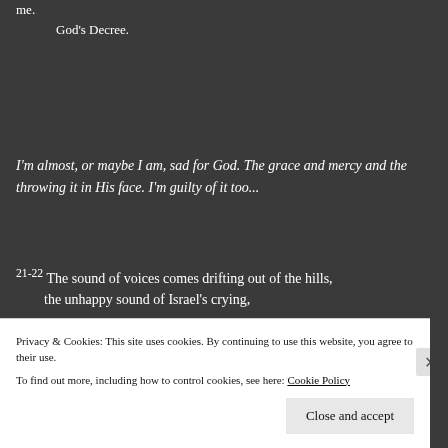me.
God's Decree.
I'm almost, or maybe I am, sad for God. The grace and mercy and the throwing it in His face. I'm guilty of it too...
21-22 The sound of voices comes drifting out of the hills,
    the unhappy sound of Israel's crying,
Privacy & Cookies: This site uses cookies. By continuing to use this website, you agree to their use.
To find out more, including how to control cookies, see here: Cookie Policy